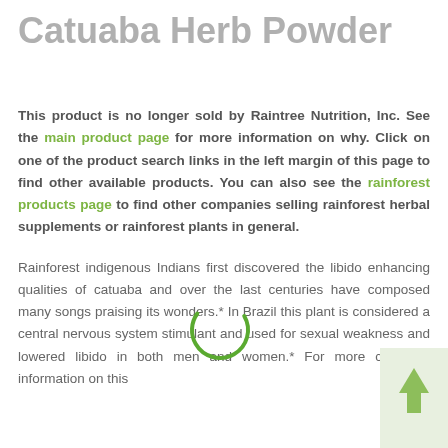Catuaba Herb Powder
This product is no longer sold by Raintree Nutrition, Inc. See the main product page for more information on why. Click on one of the product search links in the left margin of this page to find other available products. You can also see the rainforest products page to find other companies selling rainforest herbal supplements or rainforest plants in general.
Rainforest indigenous Indians first discovered the libido enhancing qualities of catuaba and over the last centuries have composed many songs praising its wonders.* In Brazil this plant is considered a central nervous system stimulant and used for sexual weakness and lowered libido in both men and women.* For more complete information on this